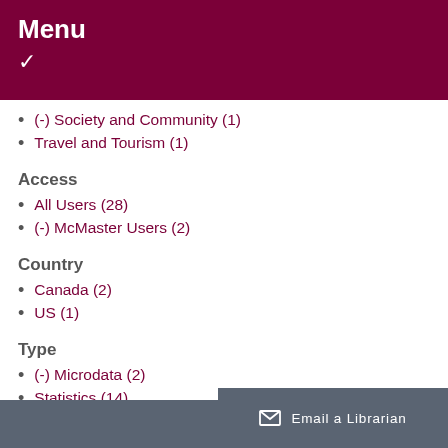Menu
(-) Society and Community (1)
Travel and Tourism (1)
Access
All Users (28)
(-) McMaster Users (2)
Country
Canada (2)
US (1)
Type
(-) Microdata (2)
Statistics (14)
Email a Librarian